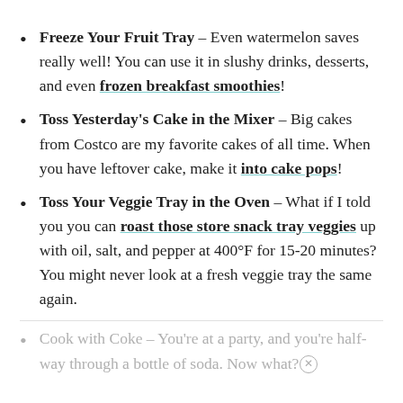Freeze Your Fruit Tray – Even watermelon saves really well! You can use it in slushy drinks, desserts, and even frozen breakfast smoothies!
Toss Yesterday's Cake in the Mixer – Big cakes from Costco are my favorite cakes of all time. When you have leftover cake, make it into cake pops!
Toss Your Veggie Tray in the Oven – What if I told you you can roast those store snack tray veggies up with oil, salt, and pepper at 400°F for 15-20 minutes? You might never look at a fresh veggie tray the same again.
Cook with Coke – You're at a party, and you're half-way through a bottle of soda. Now what?